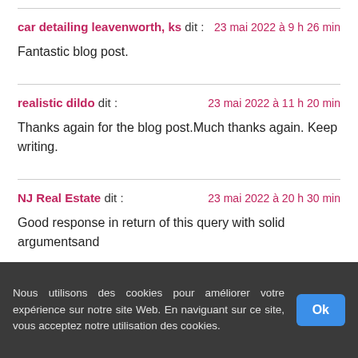car detailing leavenworth, ks dit : | 23 mai 2022 à 9 h 26 min
Fantastic blog post.
realistic dildo dit : | 23 mai 2022 à 11 h 20 min
Thanks again for the blog post.Much thanks again. Keep writing.
NJ Real Estate dit : | 23 mai 2022 à 20 h 30 min
Good response in return of this query with solid argumentsand
Nous utilisons des cookies pour améliorer votre expérience sur notre site Web. En naviguant sur ce site, vous acceptez notre utilisation des cookies.